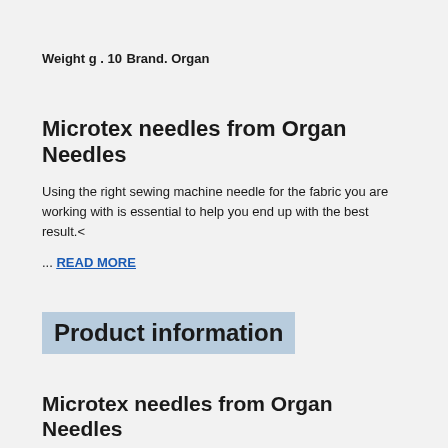Weight g . 10
Brand. Organ
Microtex needles from Organ Needles
Using the right sewing machine needle for the fabric you are working with is essential to help you end up with the best result.<
... READ MORE
Product information
Microtex needles from Organ Needles
Using the right sewing machine needle for the fabric you are working with is essential to help you end up with the best result.
The type of fabric you are working with determines which needle you should use. The thicker your fabric is the thicker your needle needs to be.